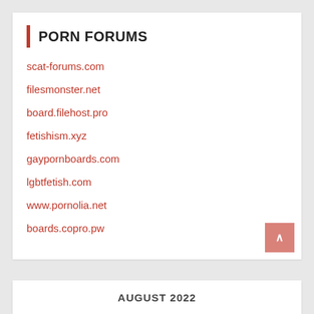PORN FORUMS
scat-forums.com
filesmonster.net
board.filehost.pro
fetishism.xyz
gaypornboards.com
lgbtfetish.com
www.pornolia.net
boards.copro.pw
AUGUST 2022